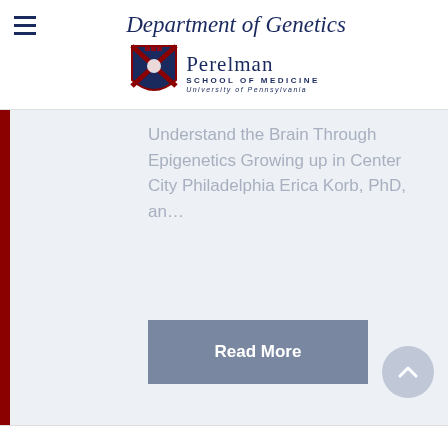Department of Genetics
[Figure (logo): Perelman School of Medicine, University of Pennsylvania shield logo with red and blue crest]
Understand the Brain Through Epigenetics Growing up in Center City Philadelphia Erica Korb, PhD, an…
Read More